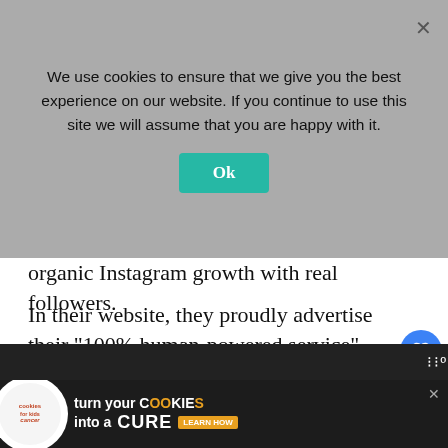We use cookies to ensure that we give you the best experience on our website. If you continue to use this site we will assume that you are happy with it.
organic Instagram growth with real followers.
In their website, they proudly advertise their "100% human-powered service",  which they deliver results based on custom strategy that was created based on your account needs.
Ampfluence, like all other services in t... a safe Instagram growth service. The only, downside is their prices are on the expensive en...
[Figure (screenshot): Cookie consent overlay with teal Ok button and X close button over greyed-out webpage content]
[Figure (screenshot): Like (heart) button widget showing count of 1, and share button below]
[Figure (screenshot): What's Next widget showing thumbnail and text 'Can Someone See that I...']
[Figure (screenshot): Bottom advertisement banner: cookies for kids cancer - turn your cookies into a cure, learn how]